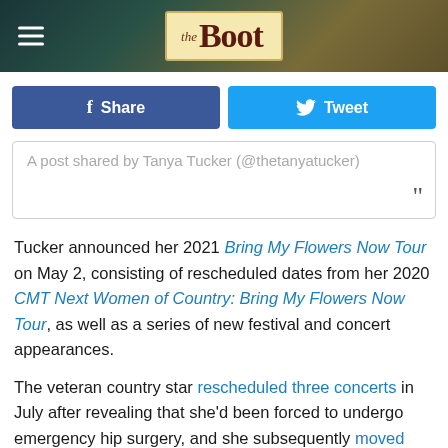[Figure (logo): The Boot website logo with hamburger menu icon on dark background]
Share | Tweet
A post shared by Tanya Tucker (@thetanyatucker)
Tucker announced her 2021 Bring My Flowers Now Tour on May 2, consisting of rescheduled dates from her 2020 CMT Next Women of Country: Bring My Flowers Now Tour, as well as a series of new festival and concert appearances.
The veteran country star rescheduled three concerts in July after revealing that she'd been forced to undergo emergency hip surgery, and she subsequently moved four more shows in early August as she recovered. She canceled six more shows in mid-August as she continued to undergo physical therapy before ultimately deciding to recover the balance of her 2021